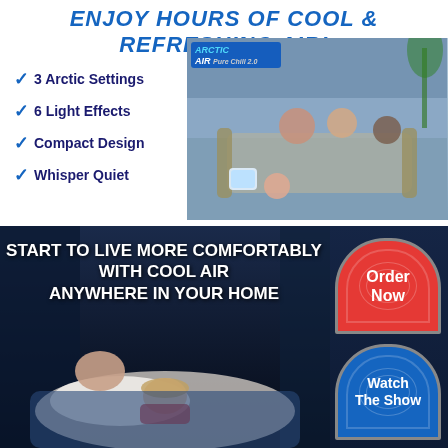ENJOY HOURS OF COOL & REFRESHING AIR!
3 Arctic Settings
6 Light Effects
Compact Design
Whisper Quiet
[Figure (photo): Arctic Air Pure Chill 2.0 product sitting on a table, family relaxing on couch in background]
START TO LIVE MORE COMFORTABLY WITH COOL AIR ANYWHERE IN YOUR HOME
[Figure (photo): Couple sleeping comfortably in bed at night]
Order Now
Watch The Show